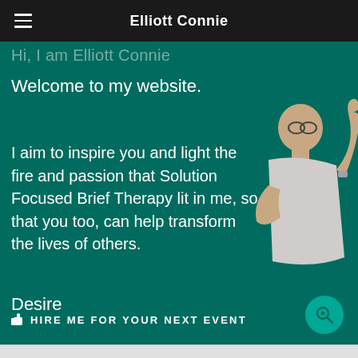Elliott Connie
Hi, I am Elliott Connie
Welcome to my website.
I aim to inspire you and light the fire and passion that Solution Focused Brief Therapy lit in me, so that you too, can help transform the lives of others.
Desire
HIRE ME FOR YOUR NEXT EVENT
[Figure (photo): Person pointing upward wearing a grey t-shirt, partially visible on the right side of the page]